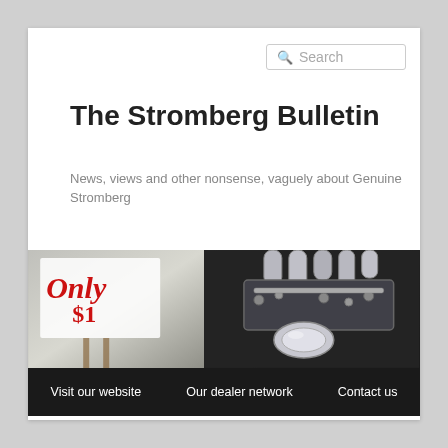The Stromberg Bulletin
News, views and other nonsense, vaguely about Genuine Stromberg
[Figure (photo): Hero photograph split into two sections: left shows a blurred storefront sign reading 'Only $1...' in red cursive; right shows a close-up of a polished chrome carburetor engine assembly on a dark background.]
Visit our website   Our dealer network   Contact us
MONTHLY ARCHIVES: MARCH 2017